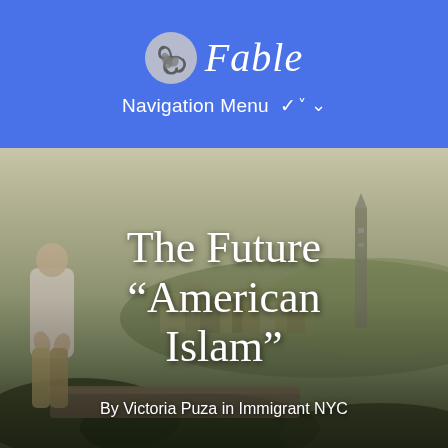[Figure (logo): Fable app logo: spiral shell icon in grey/white next to italic white text 'Fable' on blue background]
Navigation Menu ▾
[Figure (photo): A man in white shirt stands on an overlook viewing a Middle Eastern or Mediterranean city skyline with a tall tower visible on the right. Sky is hazy/golden. Overlaid large white serif text reads: The Future "American Islam" and below: By Victoria Puza in Immigrant NYC]